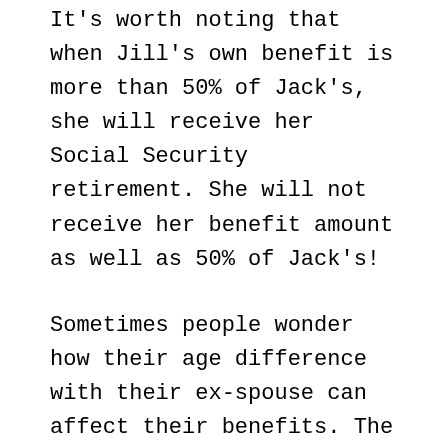It's worth noting that when Jill's own benefit is more than 50% of Jack's, she will receive her Social Security retirement. She will not receive her benefit amount as well as 50% of Jack's!
Sometimes people wonder how their age difference with their ex-spouse can affect their benefits. The good news is that the ex-spouse's age when they